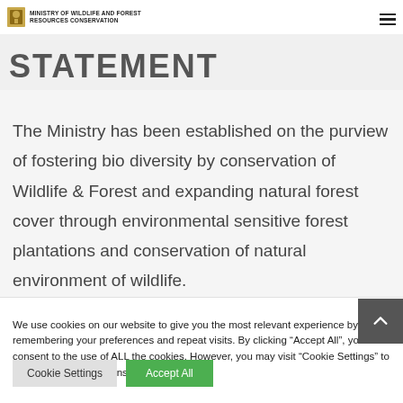MINISTRY OF WILDLIFE AND FOREST RESOURCES CONSERVATION
STATEMENT (partially cropped)
The Ministry has been established on the purview of fostering bio diversity by conservation of Wildlife & Forest and expanding natural forest cover through environmental sensitive forest plantations and conservation of natural environment of wildlife.
We use cookies on our website to give you the most relevant experience by remembering your preferences and repeat visits. By clicking “Accept All”, you consent to the use of ALL the cookies. However, you may visit "Cookie Settings" to provide a controlled consent.